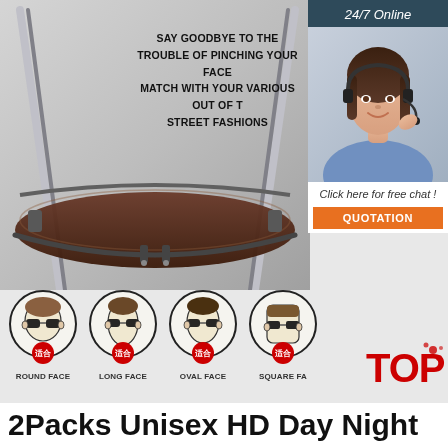[Figure (photo): Close-up bottom view of rimless/semi-rimless sunglasses showing the frame bridge and lens bottom edge on light gray background]
SAY GOODBYE TO THE TROUBLE OF PINCHING YOUR FACE MATCH WITH YOUR VARIOUS OUT OF THE STREET FASHIONS
[Figure (photo): Customer service agent - woman with headset smiling, shown in dark teal panel with '24/7 Online' header and 'Click here for free chat!' text with QUOTATION button]
[Figure (infographic): Four circular face type illustrations showing people wearing sunglasses: ROUND FACE, LONG FACE, OVAL FACE, SQUARE FACE, each with red Chinese '适合' (suitable) badge]
2Packs Unisex HD Day Night